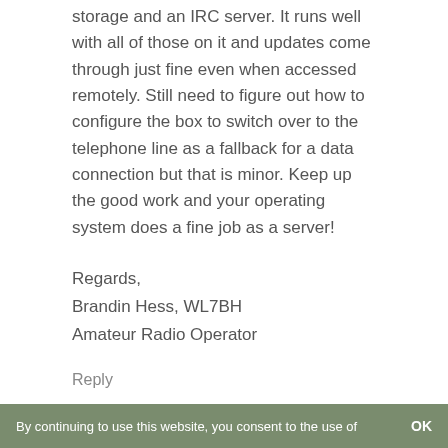storage and an IRC server. It runs well with all of those on it and updates come through just fine even when accessed remotely. Still need to figure out how to configure the box to switch over to the telephone line as a fallback for a data connection but that is minor. Keep up the good work and your operating system does a fine job as a server!
Regards,
Brandin Hess, WL7BH
Amateur Radio Operator
Reply
glauco
By continuing to use this website, you consent to the use of   OK